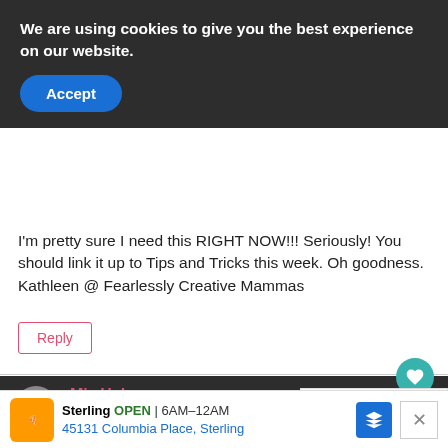We are using cookies to give you the best experience on our website.
Accept
I'm pretty sure I need this RIGHT NOW!!! Seriously! You should link it up to Tips and Tricks this week. Oh goodness. Kathleen @ Fearlessly Creative Mammas
Reply
Miz Helen
April 6, 2015 at 9:04 PM
Your Bundt Cake looks great and wonderful to be... Thanks so much for sharing with Full Plate Thurs... wonderful week.
Come Back Soon!
Miz...